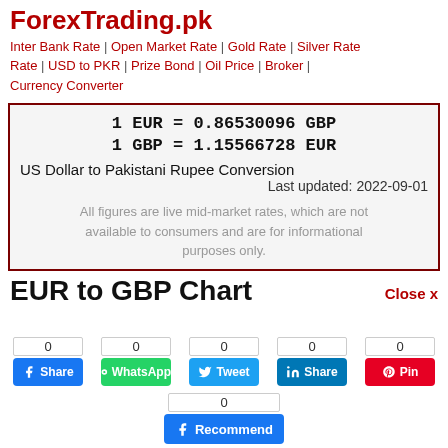ForexTrading.pk
Inter Bank Rate | Open Market Rate | Gold Rate | Silver Rate | USD to PKR | Prize Bond | Oil Price | Broker | Currency Converter
1 EUR = 0.86530096 GBP
1 GBP = 1.15566728 EUR
US Dollar to Pakistani Rupee Conversion
Last updated: 2022-09-01
All figures are live mid-market rates, which are not available to consumers and are for informational purposes only.
EUR to GBP Chart
Close x
0  Share | 0  WhatsApp | 0  Tweet | 0  Share | 0  Pin
0  Recommend